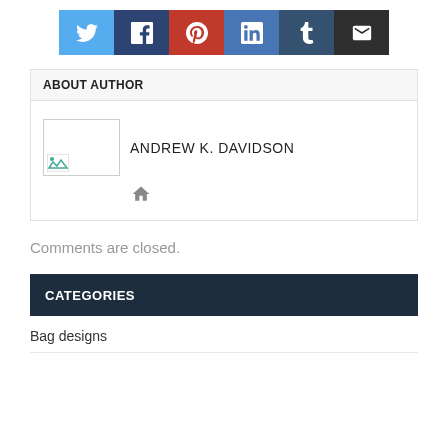[Figure (other): Social sharing buttons: Twitter, Facebook, Pinterest, LinkedIn, Tumblr, Email]
ABOUT AUTHOR
[Figure (other): Broken image placeholder for author photo with name ANDREW K. DAVIDSON and home icon link]
Comments are closed.
CATEGORIES
Bag designs